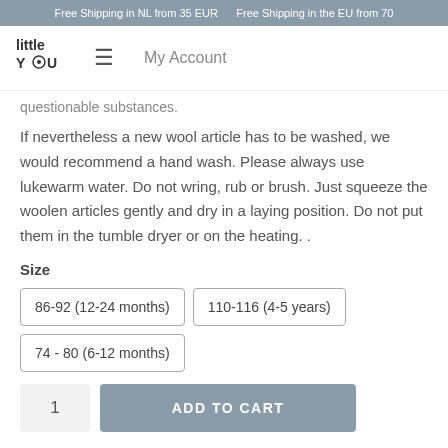Free Shipping in NL from 35 EUR    Free Shipping in the EU from 70
questionable substances.
If nevertheless a new wool article has to be washed, we would recommend a hand wash. Please always use lukewarm water. Do not wring, rub or brush. Just squeeze the woolen articles gently and dry in a laying position. Do not put them in the tumble dryer or on the heating. .
Size
86-92 (12-24 months)  110-116 (4-5 years)  74 - 80 (6-12 months)
1  ADD TO CART